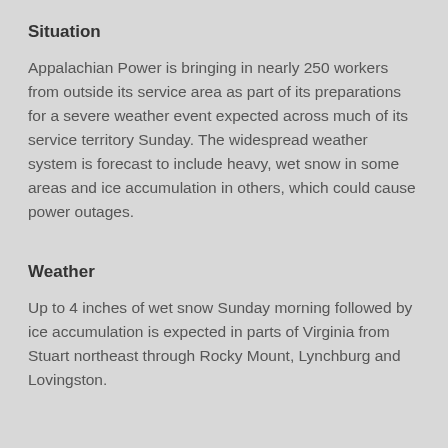Situation
Appalachian Power is bringing in nearly 250 workers from outside its service area as part of its preparations for a severe weather event expected across much of its service territory Sunday. The widespread weather system is forecast to include heavy, wet snow in some areas and ice accumulation in others, which could cause power outages.
Weather
Up to 4 inches of wet snow Sunday morning followed by ice accumulation is expected in parts of Virginia from Stuart northeast through Rocky Mount, Lynchburg and Lovingston.